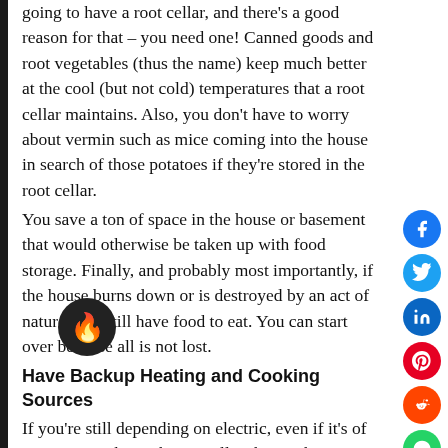going to have a root cellar, and there's a good reason for that – you need one! Canned goods and root vegetables (thus the name) keep much better at the cool (but not cold) temperatures that a root cellar maintains. Also, you don't have to worry about vermin such as mice coming into the house in search of those potatoes if they're stored in the root cellar.
You save a ton of space in the house or basement that would otherwise be taken up with food storage. Finally, and probably most importantly, if the house burns down or is destroyed by an act of nature, you still have food to eat. You can start over because all is not lost.
Have Backup Heating and Cooking Sources
If you're still depending on electric, even if it's of your own making, there's still a chance that something will be or go wrong. Have a backup source of cooking and heating. You'll notice in most old (preserved) homesteads, there a cooking stove and a heating stove…